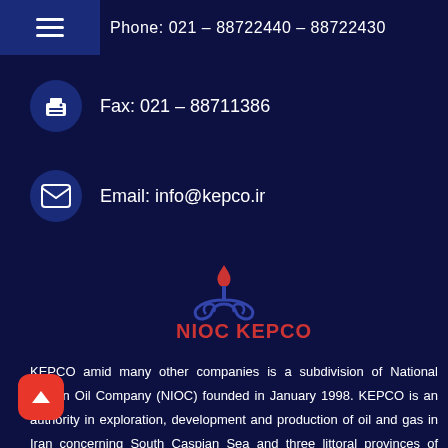Phone: 021 – 88722440 – 88722430
Fax: 021 – 88711386
Email: info@kepco.ir
[Figure (logo): NIOC KEPCO logo — flame and scroll emblem above the text NIOC and KEPCO in red]
KEPCO amid many other companies is a subdivision of National Iranian Oil Company (NIOC) founded in January 1998. KEPCO is an authority in exploration, development and production of oil and gas in Iran concerning South Caspian Sea and three littoral provinces of Golestan, Mazanderan and Gilan in Iran. KEPCO supervises all the contracts signed by local and international companies regarding exploration and development of hydrocarbon reserves in the area including the pertinent environmental matters. KEPCO is committed